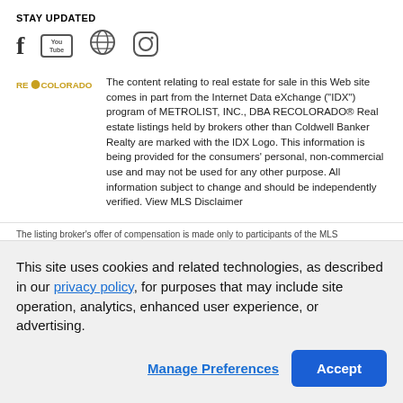STAY UPDATED
[Figure (illustration): Social media icons: Facebook (f), YouTube (You Tube box logo), Globe/web icon, Instagram (camera outline icon)]
The content relating to real estate for sale in this Web site comes in part from the Internet Data eXchange ("IDX") program of METROLIST, INC., DBA RECOLORADO® Real estate listings held by brokers other than Coldwell Banker Realty are marked with the IDX Logo. This information is being provided for the consumers' personal, non-commercial use and may not be used for any other purpose. All information subject to change and should be independently verified. View MLS Disclaimer
The listing broker's offer of compensation is made only to participants of the MLS
This site uses cookies and related technologies, as described in our privacy policy, for purposes that may include site operation, analytics, enhanced user experience, or advertising.
Manage Preferences
Accept